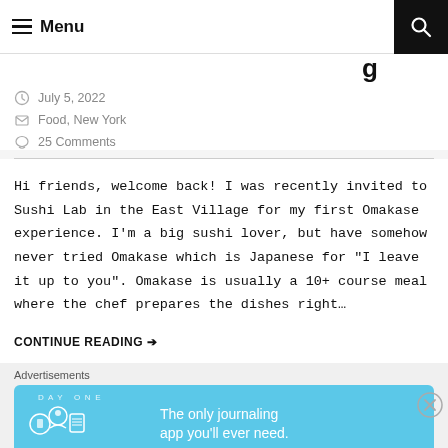Menu
g
July 5, 2022
Food, New York
25 Comments
Hi friends, welcome back! I was recently invited to Sushi Lab in the East Village for my first Omakase experience. I’m a big sushi lover, but have somehow never tried Omakase which is Japanese for “I leave it up to you”. Omakase is usually a 10+ course meal where the chef prepares the dishes right…
CONTINUE READING →
Advertisements
[Figure (infographic): DAY ONE app advertisement banner — blue background with illustrated icons (journal, person, notepad) and text: 'The only journaling app you’ll ever need.']